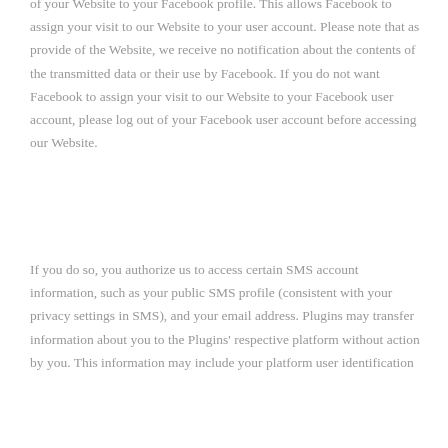of your Website to your Facebook profile. This allows Facebook to assign your visit to our Website to your user account. Please note that as provide of the Website, we receive no notification about the contents of the transmitted data or their use by Facebook. If you do not want Facebook to assign your visit to our Website to your Facebook user account, please log out of your Facebook user account before accessing our Website.
If you do so, you authorize us to access certain SMS account information, such as your public SMS profile (consistent with your privacy settings in SMS), and your email address. Plugins may transfer information about you to the Plugins' respective platform without action by you. This information may include your platform user identification